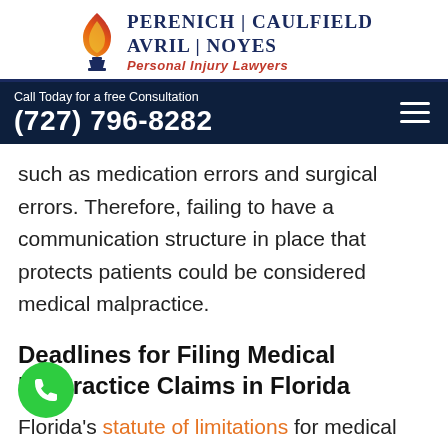[Figure (logo): Perenich Caulfield Avril Noyes Personal Injury Lawyers logo with flame icon]
Call Today for a free Consultation (727) 796-8282
such as medication errors and surgical errors. Therefore, failing to have a communication structure in place that protects patients could be considered medical malpractice.
Deadlines for Filing Medical Malpractice Claims in Florida
Florida's statute of limitations for medical